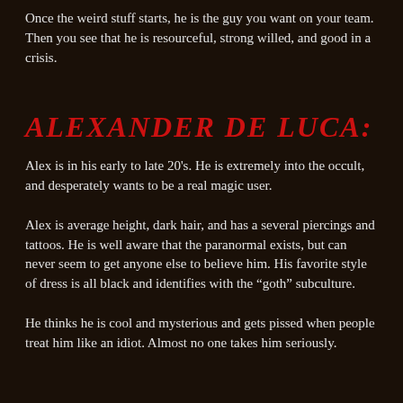Once the weird stuff starts, he is the guy you want on your team. Then you see that he is resourceful, strong willed, and good in a crisis.
Alexander de Luca:
Alex is in his early to late 20's. He is extremely into the occult, and desperately wants to be a real magic user.
Alex is average height, dark hair, and has a several piercings and tattoos. He is well aware that the paranormal exists, but can never seem to get anyone else to believe him. His favorite style of dress is all black and identifies with the “goth” subculture.
He thinks he is cool and mysterious and gets pissed when people treat him like an idiot. Almost no one takes him seriously.
Kolby Byrd: